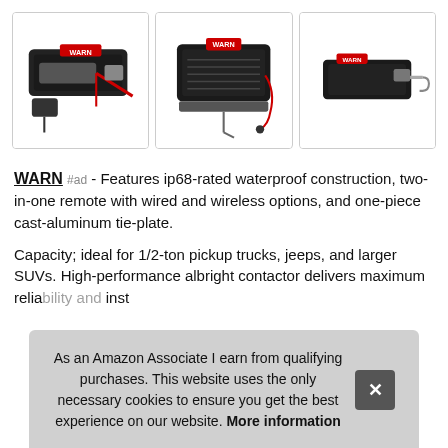[Figure (photo): Three WARN winch product photos displayed side by side in bordered boxes]
WARN #ad - Features ip68-rated waterproof construction, two-in-one remote with wired and wireless options, and one-piece cast-aluminum tie-plate.
Capacity; ideal for 1/2-ton pickup trucks, jeeps, and larger SUVs. High-performance albright contactor delivers maximum reliability and inst
As an Amazon Associate I earn from qualifying purchases. This website uses the only necessary cookies to ensure you get the best experience on our website. More information